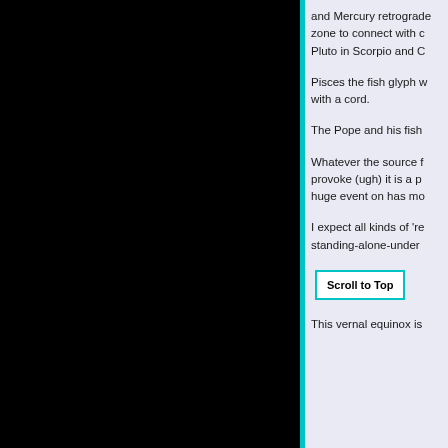[Figure (other): Large black rectangular panel on the left side of the page]
and Mercury retrograde zone to connect with Pluto in Scorpio and C
Pisces the fish glyph with a cord.
The Pope and his fish
Whatever the source f provoke (ugh) it is a p huge event on has mo
I expect all kinds of 're standing-alone-under
Scroll to Top
This vernal equinox is